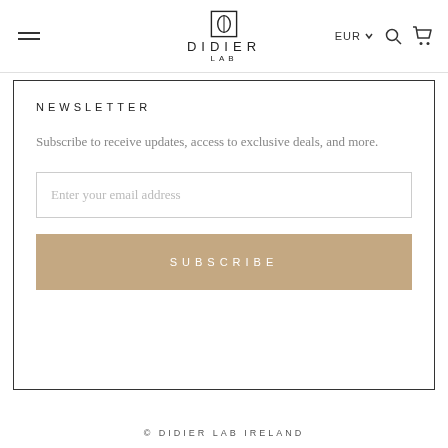DIDIER LAB — EUR
NEWSLETTER
Subscribe to receive updates, access to exclusive deals, and more.
Enter your email address
SUBSCRIBE
© DIDIER LAB IRELAND